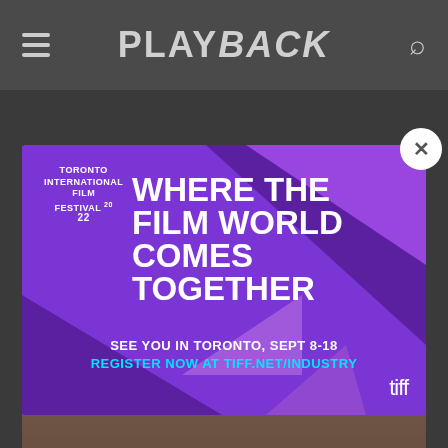PLAYBACK
[Figure (illustration): Toronto International Film Festival 2022 advertisement popup. Purple background with diagonal geometric shapes in darker purple. Text reads: TORONTO INTERNATIONAL FILM FESTIVAL 22 / WHERE THE FILM WORLD COMES TOGETHER / SEE YOU IN TORONTO, SEPT 8-18 / REGISTER NOW AT TIFF.NET/INDUSTRY. tiff logo bottom right. Close button (X) in top right circle.]
[Figure (photo): Partially visible photograph of a person outdoors near a building, dimmed in background.]